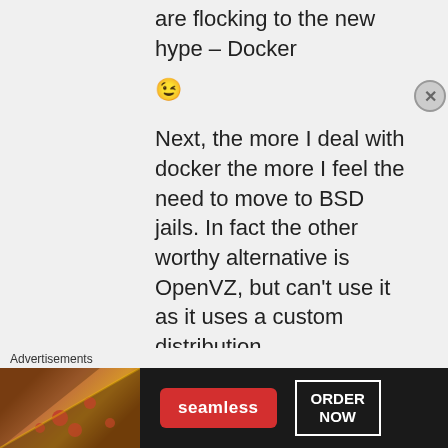are flocking to the new hype – Docker 😉
Next, the more I deal with docker the more I feel the need to move to BSD jails. In fact the other worthy alternative is OpenVZ, but can't use it as it uses a custom distribution.
Solaris Zones...
Advertisements
[Figure (photo): Seamless food delivery advertisement banner with pizza image, Seamless logo button, and ORDER NOW button on dark background]